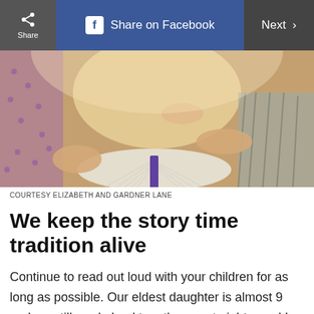[Figure (screenshot): Mobile web page toolbar with Share button, Share on Facebook button, and Next navigation button on dark grey background]
[Figure (photo): Close-up photo of children and adults reading an open book together, showing hands holding a book with pages fanned open. One person wears a purple patterned fabric and another wears grey striped shorts.]
COURTESY ELIZABETH AND GARDNER LANE
We keep the story time tradition alive
Continue to read out loud with your children for as long as possible. Our eldest daughter is almost 9 and we still read aloud together most nights, and I hope we will do it for a few if not several